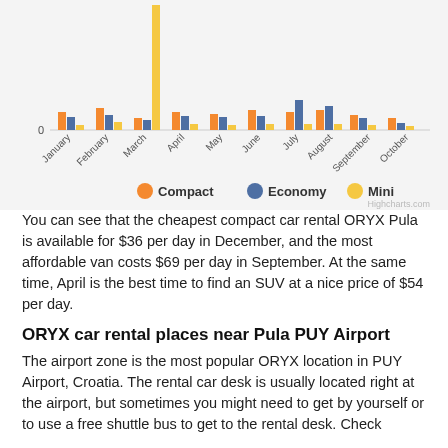[Figure (grouped-bar-chart): Car rental prices by month]
You can see that the cheapest compact car rental ORYX Pula is available for $36 per day in December, and the most affordable van costs $69 per day in September. At the same time, April is the best time to find an SUV at a nice price of $54 per day.
ORYX car rental places near Pula PUY Airport
The airport zone is the most popular ORYX location in PUY Airport, Croatia. The rental car desk is usually located right at the airport, but sometimes you might need to get by yourself or to use a free shuttle bus to get to the rental desk. Check